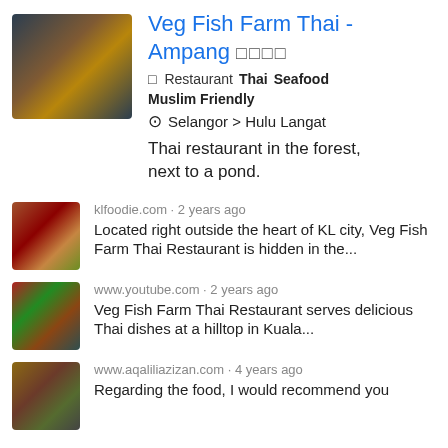[Figure (photo): Blurred thumbnail photo of Veg Fish Farm Thai restaurant exterior/interior, dark tones with brown and blue hues]
Veg Fish Farm Thai - Ampang ☐☐☐☐
☐ Restaurant  Thai  Seafood  Muslim Friendly
⊙ Selangor > Hulu Langat
Thai restaurant in the forest, next to a pond.
[Figure (photo): Small blurred thumbnail of restaurant, reddish-brown tones]
klfoodie.com · 2 years ago
Located right outside the heart of KL city, Veg Fish Farm Thai Restaurant is hidden in the...
[Figure (photo): Small blurred thumbnail, red and green tones]
www.youtube.com · 2 years ago
Veg Fish Farm Thai Restaurant serves delicious Thai dishes at a hilltop in Kuala...
[Figure (photo): Small blurred thumbnail, brownish tones]
www.aqaliliazizan.com · 4 years ago
Regarding the food, I would recommend you